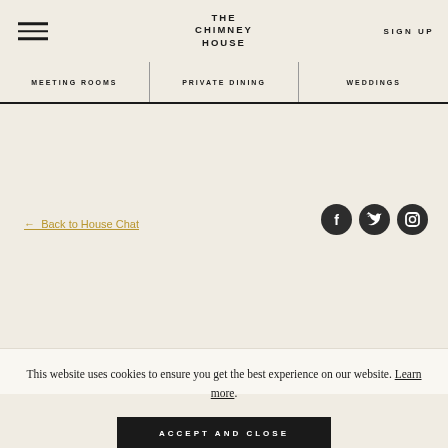THE CHIMNEY HOUSE
SIGN UP
MEETING ROOMS | PRIVATE DINING | WEDDINGS
← Back to House Chat
This website uses cookies to ensure you get the best experience on our website. Learn more.
ACCEPT AND CLOSE